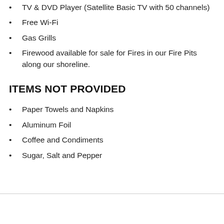TV & DVD Player (Satellite Basic TV with 50 channels)
Free Wi-Fi
Gas Grills
Firewood available for sale for Fires in our Fire Pits along our shoreline.
ITEMS NOT PROVIDED
Paper Towels and Napkins
Aluminum Foil
Coffee and Condiments
Sugar, Salt and Pepper